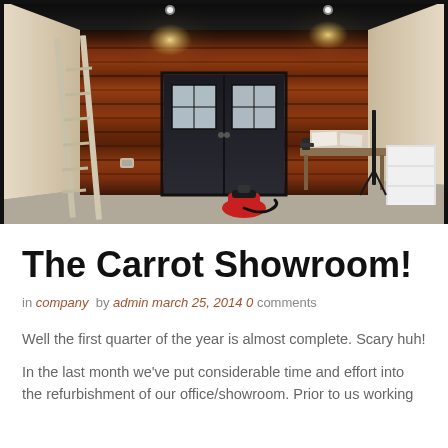[Figure (photo): Interior photo of a showroom under refurbishment. A dark wood-paneled wall with horizontal planks covers most of the back wall. Black double doors with two square windows are centered in the wall. Track lighting with two spots shines down from above. A red vacuum/dust extractor sits on the concrete floor in the center. A workbench with papers and tools is on the right side. A white shelving unit is visible at the far right. A ladder leans against the left wall.]
The Carrot Showroom!
in company by admin march 25, 2014 0 comments
Well the first quarter of the year is almost complete. Scary huh!
In the last month we've put considerable time and effort into the refurbishment of our office/showroom. Prior to us working